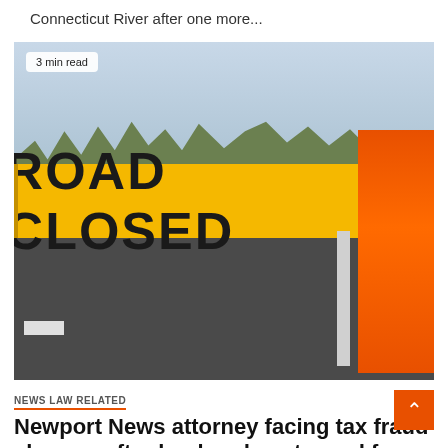Connecticut River after one more...
[Figure (photo): A yellow ROAD CLOSED sign on a closed road with orange barriers and trees in the background. A badge reads '3 min read'.]
3 min read
NEWS LAW RELATED
Newport News attorney facing tax fraud charges after husband sentenced for fraud